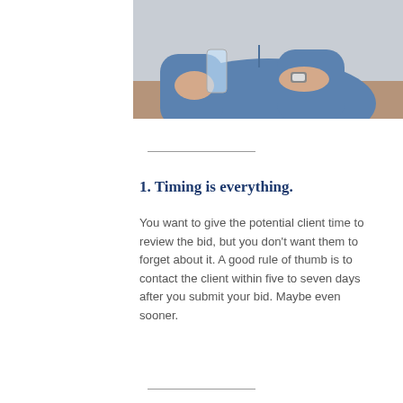[Figure (photo): Person in blue denim shirt sitting at a table, holding a glass, wearing a watch. Partial upper-body view.]
1. Timing is everything.
You want to give the potential client time to review the bid, but you don't want them to forget about it. A good rule of thumb is to contact the client within five to seven days after you submit your bid. Maybe even sooner.